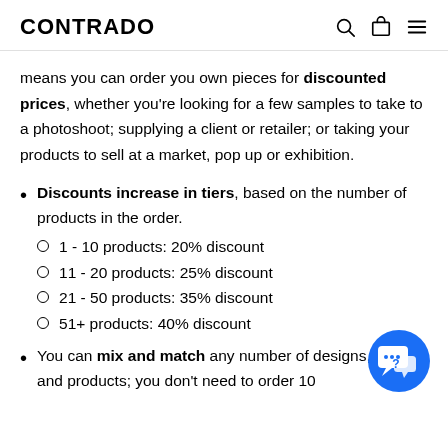CONTRADO
means you can order you own pieces for discounted prices, whether you're looking for a few samples to take to a photoshoot; supplying a client or retailer; or taking your products to sell at a market, pop up or exhibition.
Discounts increase in tiers, based on the number of products in the order.
1 - 10 products: 20% discount
11 - 20 products: 25% discount
21 - 50 products: 35% discount
51+ products: 40% discount
You can mix and match any number of designs, sizes, and products; you don't need to order 10
[Figure (illustration): Blue circular chat/help button with speech bubble icons containing a question mark]